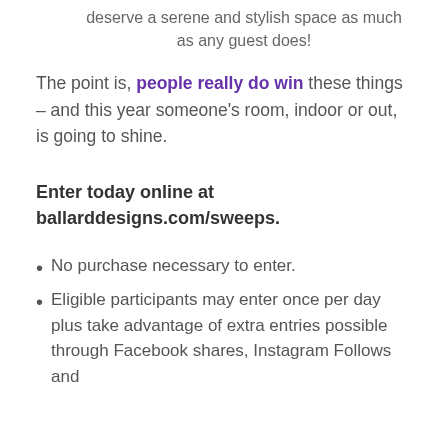deserve a serene and stylish space as much as any guest does!
The point is, people really do win these things – and this year someone's room, indoor or out, is going to shine.
Enter today online at ballarddesigns.com/sweeps.
No purchase necessary to enter.
Eligible participants may enter once per day plus take advantage of extra entries possible through Facebook shares, Instagram Follows and